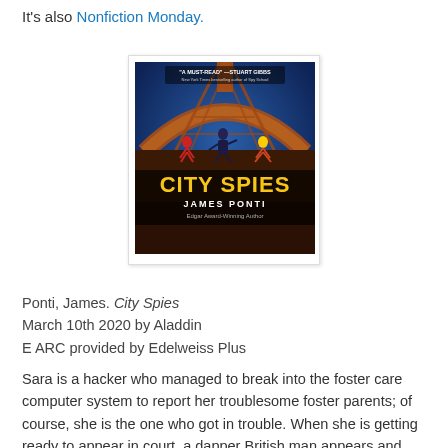It's also Nonfiction Monday.
[Figure (photo): Book cover of 'City Spies' by James Ponti, showing the Eiffel Tower at night with three young characters running across it. Yellow title text 'CITY SPIES' at the bottom, author name 'JAMES PONTI' below. A blurb at top reads 'A MUST-READ' —Stuart Gibbs.]
Ponti, James. City Spies
March 10th 2020 by Aladdin
E ARC provided by Edelweiss Plus
Sara is a hacker who managed to break into the foster care computer system to report her troublesome foster parents; of course, she is the one who got in trouble. When she is getting ready to appear in court, a dapper British man appears and says he is her new lawyer, and proceeds to get her cleared to go to a special school. She has her doubts